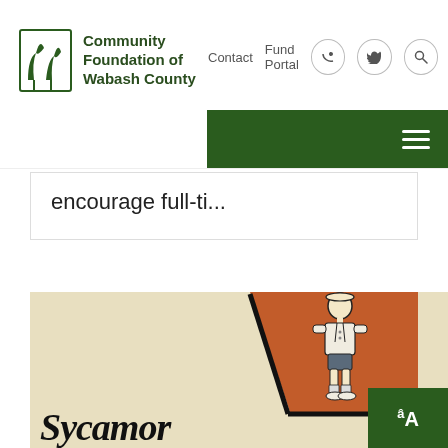Community Foundation of Wabash County — Contact | Fund Portal | [social icons]
encourage full-ti...
[Figure (illustration): Vintage illustration showing a small child figure in a white coat and shorts standing on an orange/terracotta angled rectangle, with cursive 'Sycamore' text below, on a cream/beige background. Style suggests early 20th century promotional or advertisement art.]